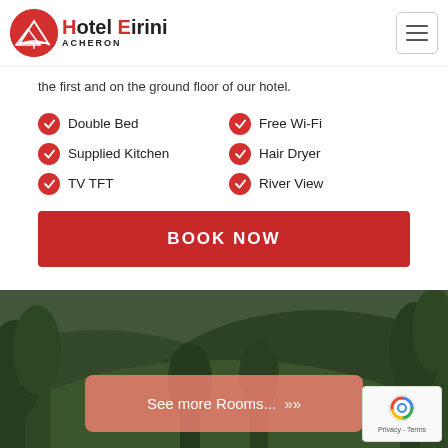Hotel Eirini ACHERON — navigation header with logo and hamburger menu
the first and on the ground floor of our hotel.
Double Bed
Supplied Kitchen
TV TFT
Free Wi-Fi
Hair Dryer
River View
BOOK NOW
[Figure (photo): Outdoor river and forest nature scene with green trees and rocky riverbed, used as background image]
See more Rooms... »